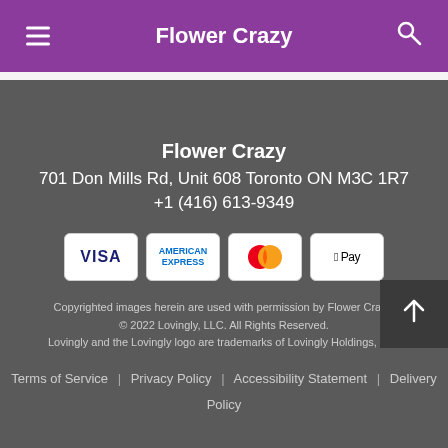Flower Crazy
Flower Crazy
701 Don Mills Rd, Unit 608 Toronto ON M3C 1R7
+1 (416) 613-9349
[Figure (other): Payment method icons: Visa, American Express, Mastercard, Apple Pay]
Copyrighted images herein are used with permission by Flower Crazy. © 2022 Lovingly, LLC. All Rights Reserved. Lovingly and the Lovingly logo are trademarks of Lovingly Holdings, LLC
Terms of Service | Privacy Policy | Accessibility Statement | Delivery Policy